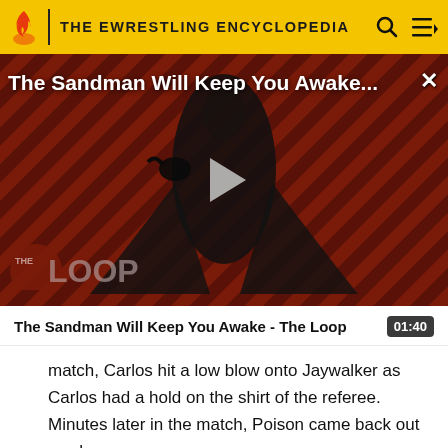THE EWRESTLING ENCYCLOPEDIA
[Figure (screenshot): Video thumbnail for 'The Sandman Will Keep You Awake - The Loop' showing a dark-clad figure on a red diagonal-striped background with The Loop logo overlay and a play button. Title text overlaid at top.]
The Sandman Will Keep You Awake - The Loop
match, Carlos hit a low blow onto Jaywalker as Carlos had a hold on the shirt of the referee. Minutes later in the match, Poison came back out as she